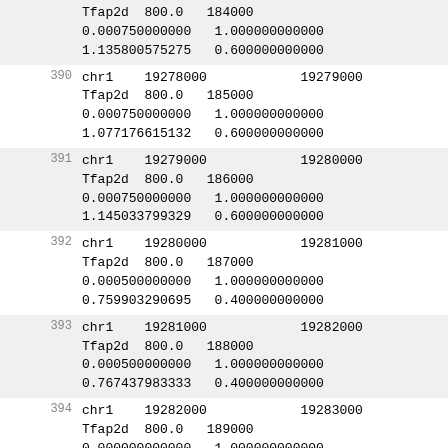| (partial) | Tfap2d  800.0  184000
0.000750000000  1.000000000000
1.135800575275  0.600000000000 |
| 390 | chr1  19278000          19279000
Tfap2d  800.0  185000
0.000750000000  1.000000000000
1.077176615132  0.600000000000 |
| 391 | chr1  19279000          19280000
Tfap2d  800.0  186000
0.000750000000  1.000000000000
1.145033799329  0.600000000000 |
| 392 | chr1  19280000          19281000
Tfap2d  800.0  187000
0.000500000000  1.000000000000
0.759903290695  0.400000000000 |
| 393 | chr1  19281000          19282000
Tfap2d  800.0  188000
0.000500000000  1.000000000000
0.767437983333  0.400000000000 |
| 394 | chr1  19282000          19283000
Tfap2d  800.0  189000
0.000000000000  1.000000000000
0.000000000000  0.000000000000 |
| 395 | chr1  19283000          19284000
Tfap2d  800.0  190000
0.000250000000  1.000000000000
0.411058797704  0.200000000000 |
| 396 | chr1  19284000          19285000
Tfap2d  800.0  191000
0.000250000000  1.000000000000
0.414912474122  0.200000000000 |
| 397 | chr1  19285000          19286000 |